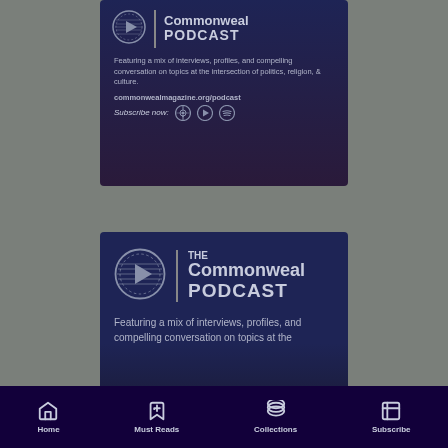[Figure (screenshot): Commonweal Podcast advertisement card (top, partially cropped). Dark navy/purple background. Shows play button circle logo, vertical divider, 'Commonweal PODCAST' title. Text: 'Featuring a mix of interviews, profiles, and compelling conversation on topics at the intersection of politics, religion, & culture.' URL: commonwealmagazine.org/podcast. Subscribe now with podcast app icons.]
[Figure (screenshot): Commonweal Podcast advertisement card (bottom). Dark navy background. Shows play button circle logo, vertical divider, 'THE Commonweal PODCAST' title. Text: 'Featuring a mix of interviews, profiles, and compelling conversation on topics at the' (truncated).]
Home  Must Reads  Collections  Subscribe